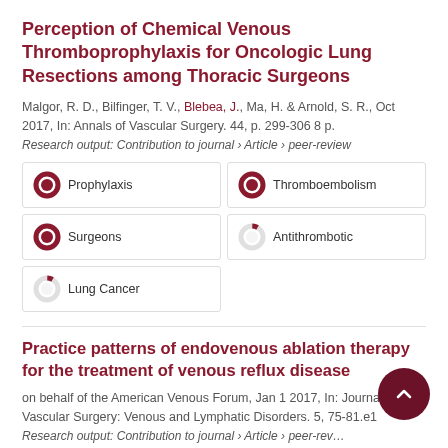Perception of Chemical Venous Thromboprophylaxis for Oncologic Lung Resections among Thoracic Surgeons
Malgor, R. D., Bilfinger, T. V., Blebea, J., Ma, H. & Arnold, S. R., Oct 2017, In: Annals of Vascular Surgery. 44, p. 299-306 8 p.
Research output: Contribution to journal › Article › peer-review
[Figure (infographic): Five keyword badges with donut chart icons: Prophylaxis (100%), Thromboembolism (100%), Surgeons (100%), Antithrombotic (~8%), Lung Cancer (~8%)]
Practice patterns of endovenous ablation therapy for the treatment of venous reflux disease
on behalf of the American Venous Forum, Jan 1 2017, In: Journal of Vascular Surgery: Venous and Lymphatic Disorders. 5, 75-81.e1
Research output: Contribution to journal › Article › peer-review
[Figure (infographic): Partial keyword badges visible at bottom: Therapy, Physicians (both with 100% donut icons, partially cut off)]